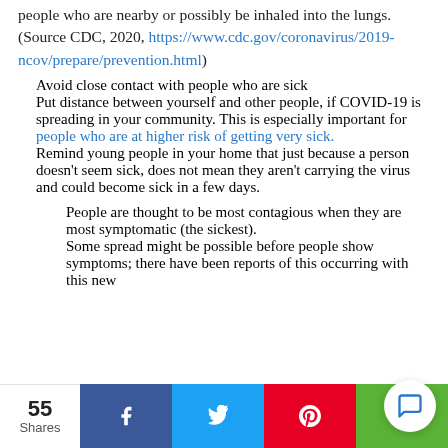people who are nearby or possibly be inhaled into the lungs. (Source CDC, 2020, https://www.cdc.gov/coronavirus/2019-ncov/prepare/prevention.html)
Avoid close contact with people who are sick
Put distance between yourself and other people, if COVID-19 is spreading in your community. This is especially important for people who are at higher risk of getting very sick.
Remind young people in your home that just because a person doesn't seem sick, does not mean they aren't carrying the virus and could become sick in a few days.
People are thought to be most contagious when they are most symptomatic (the sickest).
Some spread might be possible before people show symptoms; there have been reports of this occurring with this new
55 Shares